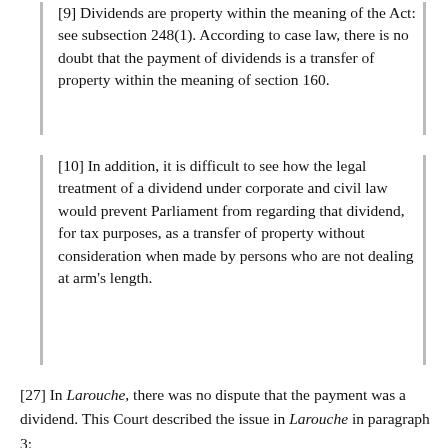[9] Dividends are property within the meaning of the Act: see subsection 248(1). According to case law, there is no doubt that the payment of dividends is a transfer of property within the meaning of section 160.
[10] In addition, it is difficult to see how the legal treatment of a dividend under corporate and civil law would prevent Parliament from regarding that dividend, for tax purposes, as a transfer of property without consideration when made by persons who are not dealing at arm's length.
[27] In Larouche, there was no dispute that the payment was a dividend. This Court described the issue in Larouche in paragraph 3:
[3] The appeal before this Court raises